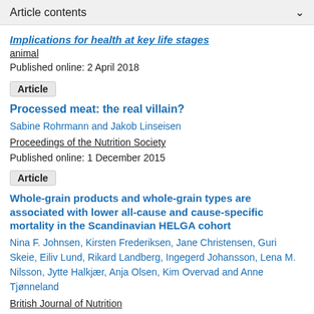Article contents
Implications for health at key life stages
animal
Published online: 2 April 2018
Article
Processed meat: the real villain?
Sabine Rohrmann and Jakob Linseisen
Proceedings of the Nutrition Society
Published online: 1 December 2015
Article
Whole-grain products and whole-grain types are associated with lower all-cause and cause-specific mortality in the Scandinavian HELGA cohort
Nina F. Johnsen, Kirsten Frederiksen, Jane Christensen, Guri Skeie, Eiliv Lund, Rikard Landberg, Ingegerd Johansson, Lena M. Nilsson, Jytte Halkjær, Anja Olsen, Kim Overvad and Anne Tjønneland
British Journal of Nutrition
Published online: 23 July 2015